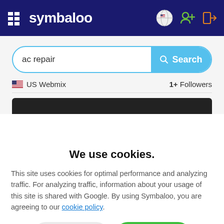[Figure (screenshot): Symbaloo website header with dark navy background, grid icon, Symbaloo logo in white, and right-side icons (US flag globe, add user, login)]
[Figure (screenshot): Search bar with 'ac repair' text input and blue Search button]
US Webmix   1+  Followers
[Figure (screenshot): Dark black navigation/toolbar bar partially visible]
We use cookies.
This site uses cookies for optimal performance and analyzing traffic. For analyzing traffic, information about your usage of this site is shared with Google. By using Symbaloo, you are agreeing to our cookie policy.
× Decline
✓ Accept